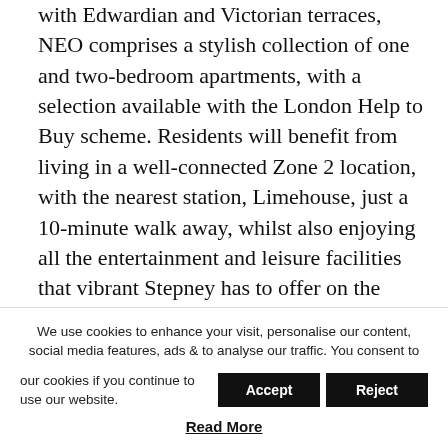with Edwardian and Victorian terraces, NEO comprises a stylish collection of one and two-bedroom apartments, with a selection available with the London Help to Buy scheme. Residents will benefit from living in a well-connected Zone 2 location, with the nearest station, Limehouse, just a 10-minute walk away, whilst also enjoying all the entertainment and leisure facilities that vibrant Stepney has to offer on the doorstep. The development will cater for all needs, including providing a 24-hour concierge service and a residents' gym and studio.
Gavin Stewart, Sales and Customer Service Director for L&Q's East region comments: “Tower Hamlets has been
We use cookies to enhance your visit, personalise our content, social media features, ads & to analyse our traffic. You consent to our cookies if you continue to use our website.
Read More